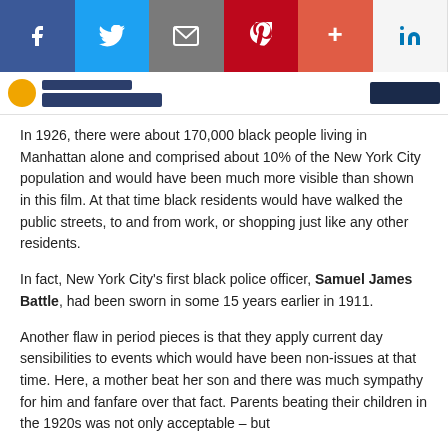[Figure (screenshot): Social media sharing bar with Facebook (blue), Twitter (blue), Email (gray), Pinterest (red), Plus/Google+ (orange-red), and LinkedIn (white/blue) buttons]
In 1926, there were about 170,000 black people living in Manhattan alone and comprised about 10% of the New York City population and would have been much more visible than shown in this film. At that time black residents would have walked the public streets, to and from work, or shopping just like any other residents.
In fact, New York City's first black police officer, Samuel James Battle, had been sworn in some 15 years earlier in 1911.
Another flaw in period pieces is that they apply current day sensibilities to events which would have been non-issues at that time. Here, a mother beat her son and there was much sympathy for him and fanfare over that fact. Parents beating their children in the 1920s was not only acceptable – but